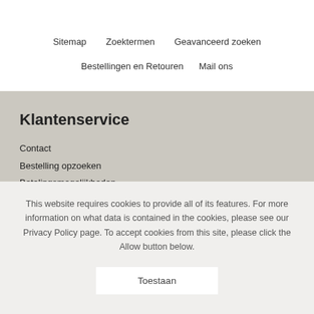Sitemap
Zoektermen
Geavanceerd zoeken
Bestellingen en Retouren
Mail ons
Klantenservice
Contact
Bestelling opzoeken
Betalingsmogelijkheden
This website requires cookies to provide all of its features. For more information on what data is contained in the cookies, please see our Privacy Policy page. To accept cookies from this site, please click the Allow button below.
Toestaan